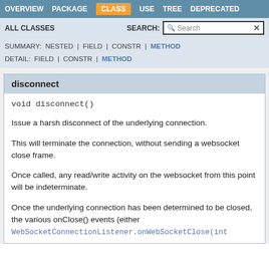OVERVIEW  PACKAGE  CLASS  USE  TREE  DEPRECATED
ALL CLASSES   SEARCH:  [Search]
SUMMARY: NESTED | FIELD | CONSTR | METHOD
DETAIL: FIELD | CONSTR | METHOD
disconnect
void disconnect()
Issue a harsh disconnect of the underlying connection.
This will terminate the connection, without sending a websocket close frame.
Once called, any read/write activity on the websocket from this point will be indeterminate.
Once the underlying connection has been determined to be closed, the various onClose() events (either WebSocketConnectionListener.onWebSocketClose(int